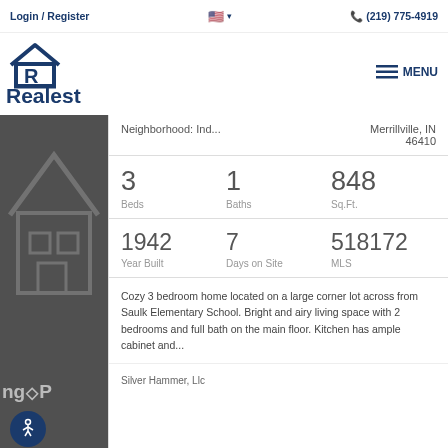Login / Register   🇺🇸 ▾   📞 (219) 775-4919
[Figure (logo): Realest real estate logo with house/R icon and blue text]
MENU
Neighborhood: Ind...   Merrillville, IN 46410
| Beds | Baths | Sq.Ft. |
| --- | --- | --- |
| 3 | 1 | 848 |
| Year Built | Days on Site | MLS |
| --- | --- | --- |
| 1942 | 7 | 518172 |
Cozy 3 bedroom home located on a large corner lot across from Saulk Elementary School. Bright and airy living space with 2 bedrooms and full bath on the main floor. Kitchen has ample cabinet and...
Silver Hammer, Llc